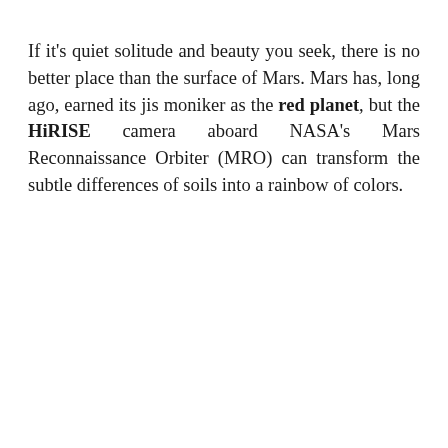If it's quiet solitude and beauty you seek, there is no better place than the surface of Mars. Mars has, long ago, earned its jis moniker as the red planet, but the HiRISE camera aboard NASA's Mars Reconnaissance Orbiter (MRO) can transform the subtle differences of soils into a rainbow of colors.